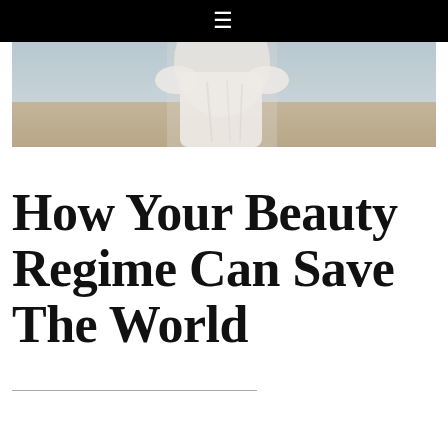☰
[Figure (photo): A person in a white dress standing outdoors near a beach or sandy area, cropped to show the torso/midsection]
How Your Beauty Regime Can Save The World